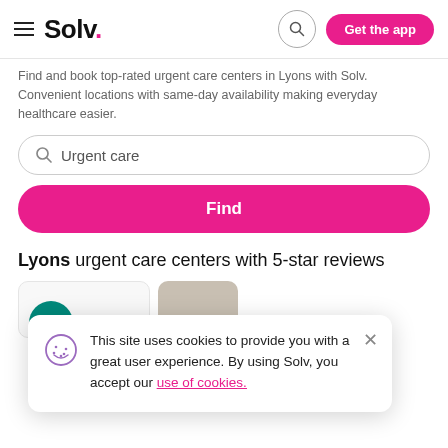Solv. — Get the app
Find and book top-rated urgent care centers in Lyons with Solv. Convenient locations with same-day availability making everyday healthcare easier.
Urgent care
Find
Lyons urgent care centers with 5-star reviews
This site uses cookies to provide you with a great user experience. By using Solv, you accept our use of cookies.